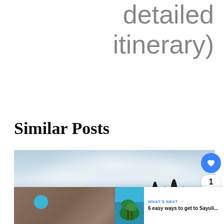detailed itinerary)
Similar Posts
[Figure (photo): Landscape photo showing rocky cliffs with tall cypress trees against a cloudy sky, with a blue element in the lower left. Floating UI buttons overlay: blue heart button, count badge showing '1', blue share button. A 'What's Next' banner shows a thumbnail of palm trees with text '6 easy ways to get to Sayuli...']